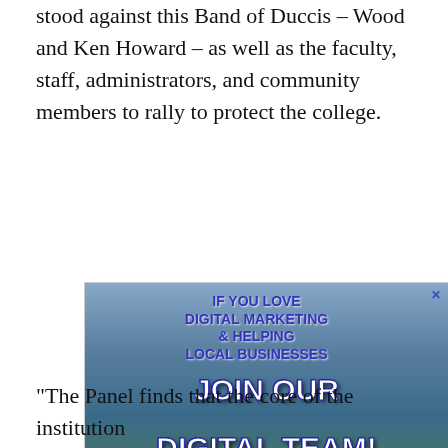stood against this Band of Duccis – Wood and Ken Howard – as well as the faculty, staff, administrators, and community members to rally to protect the college.
[Figure (advertisement): Advertisement for Triple Nine Digital, a digital marketing team associated with The Spokesman-Review. Text reads: IF YOU LOVE DIGITAL MARKETING & HELPING LOCAL BUSINESSES JOIN OUR DIGITAL TEAM! TRIPLE -nine Digital. The Spokesman-Review. APPLY HERE. Background shows a bridge over a river with cityscape.]
“The Panel finds that the core of the institution